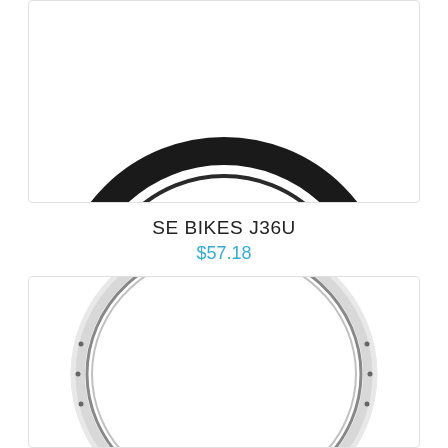[Figure (photo): Black bicycle tire/wheel ring shown partially, top portion cropped, on white background inside a bordered box.]
SE BIKES J36U
$57.18
[Figure (photo): Silver/chrome bicycle wheel rim (no tire) shown as a full ring on white background inside a bordered box.]